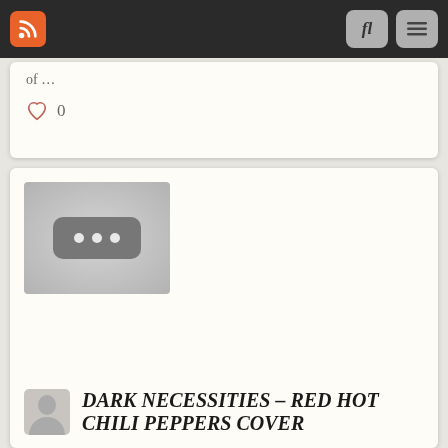Navigation bar with RSS, search, and menu buttons
of …
[Figure (other): Heart icon like button with count 0]
[Figure (other): Thumbnail image placeholder with three dots icon on grey background]
DARK NECESSITIES – RED HOT CHILI PEPPERS COVER